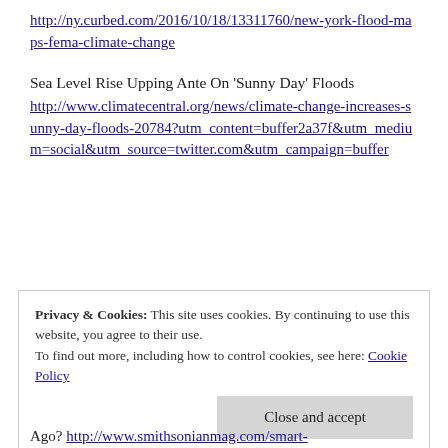http://ny.curbed.com/2016/10/18/13311760/new-york-flood-maps-fema-climate-change
Sea Level Rise Upping Ante On ‘Sunny Day’ Floods http://www.climatecentral.org/news/climate-change-increases-sunny-day-floods-20784?utm_content=buffer2a37f&utm_medium=social&utm_source=twitter.com&utm_campaign=buffer
[Figure (other): Advertisement banner for Day One journal app showing a phone mockup with the text 'Your Journal for life' and 'DAYONE' logo on a blue background. REPORT THIS AD text below.]
Privacy & Cookies: This site uses cookies. By continuing to use this website, you agree to their use.
To find out more, including how to control cookies, see here: Cookie Policy
Close and accept
Ago? http://www.smithsonianmag.com/smart-